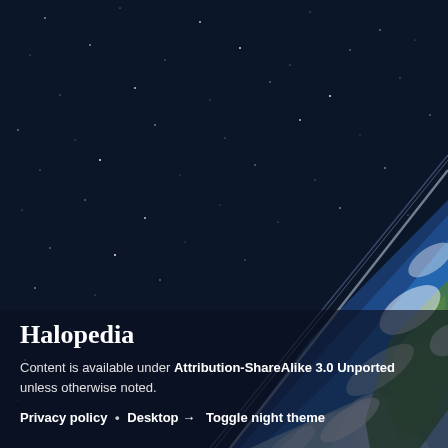[Figure (illustration): Space background with stars and Earth from orbit — dark navy starfield fills most of the image with a diagonal band from lower-left to upper-right showing Earth's curved surface with blue ocean, white clouds, and green landmass. A thin gray orbital path line separates the starfield from the Earth view.]
Halopedia
Content is available under Attribution-ShareAlike 3.0 Unported unless otherwise noted.
Privacy policy • Desktop → Toggle night theme